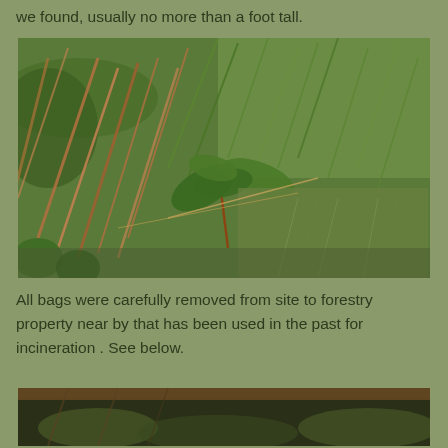we found, usually no more than a foot tall.
[Figure (photo): Close-up photograph of a small plant with green leaves growing among grass with reddish-brown and green blades, likely a weed seedling in a grassland setting.]
All bags were carefully removed from site to forestry property near by that has been used in the past for incineration . See below.
[Figure (photo): Partial photograph showing grass and vegetation at ground level, bottom portion cut off by page edge.]